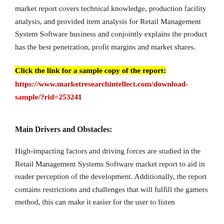market report covers technical knowledge, production facility analysis, and provided item analysis for Retail Management System Software business and conjointly explains the product has the best penetration, profit margins and market shares.
Click the link for a sample copy of the report: https://www.marketresearchintellect.com/download-sample/?rid=253241
Main Drivers and Obstacles:
High-impacting factors and driving forces are studied in the Retail Management Systems Software market report to aid in reader perception of the development. Additionally, the report contains restrictions and challenges that will fulfill the gamers method, this can make it easier for the user to listen